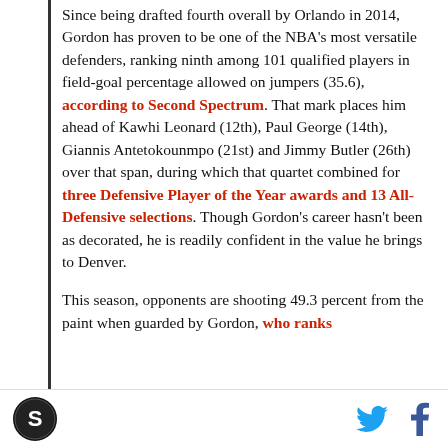Since being drafted fourth overall by Orlando in 2014, Gordon has proven to be one of the NBA's most versatile defenders, ranking ninth among 101 qualified players in field-goal percentage allowed on jumpers (35.6), according to Second Spectrum. That mark places him ahead of Kawhi Leonard (12th), Paul George (14th), Giannis Antetokounmpo (21st) and Jimmy Butler (26th) over that span, during which that quartet combined for three Defensive Player of the Year awards and 13 All-Defensive selections. Though Gordon's career hasn't been as decorated, he is readily confident in the value he brings to Denver.

This season, opponents are shooting 49.3 percent from the paint when guarded by Gordon, who ranks
[logo] [twitter] [facebook]